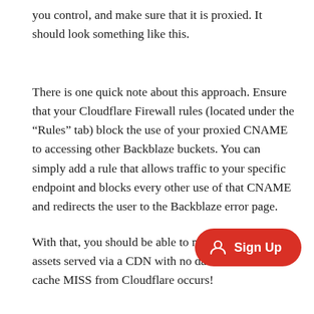you control, and make sure that it is proxied. It should look something like this.
There is one quick note about this approach. Ensure that your Cloudflare Firewall rules (located under the “Rules” tab) block the use of your proxied CNAME to accessing other Backblaze buckets. You can simply add a rule that allows traffic to your specific endpoint and blocks every other use of that CNAME and redirects the user to the Backblaze error page.
With that, you should be able to now have assets served via a CDN with no data egress until a cache MISS from Cloudflare occurs!